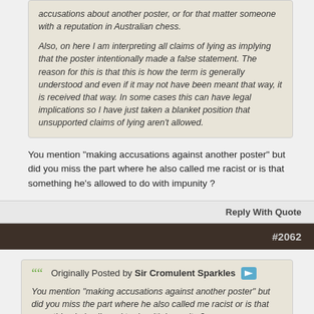accusations about another poster, or for that matter someone with a reputation in Australian chess.

Also, on here I am interpreting all claims of lying as implying that the poster intentionally made a false statement. The reason for this is that this is how the term is generally understood and even if it may not have been meant that way, it is received that way. In some cases this can have legal implications so I have just taken a blanket position that unsupported claims of lying aren't allowed.
You mention "making accusations against another poster" but did you miss the part where he also called me racist or is that something he's allowed to do with impunity ?
Reply With Quote
#2062
Originally Posted by Sir Cromulent Sparkles
You mention "making accusations against another poster" but did you miss the part where he also called me racist or is that something he's allowed to do with impunity ?